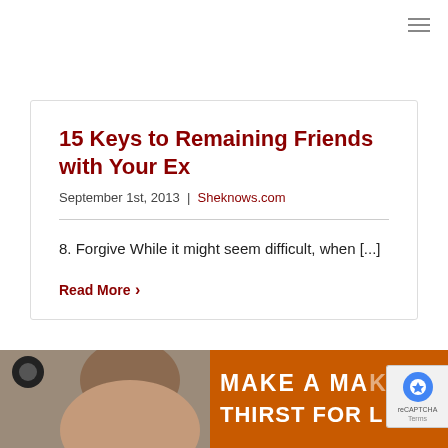[Figure (other): Hamburger menu icon (three horizontal lines) in top right corner]
15 Keys to Remaining Friends with Your Ex
September 1st, 2013 | Sheknows.com
8. Forgive While it might seem difficult, when [...]
Read More ›
[Figure (photo): Bottom partial image showing a woman with brown hair on the left and an orange sign on the right with text 'MAKE A MA...' and 'THIRST FOR L...']